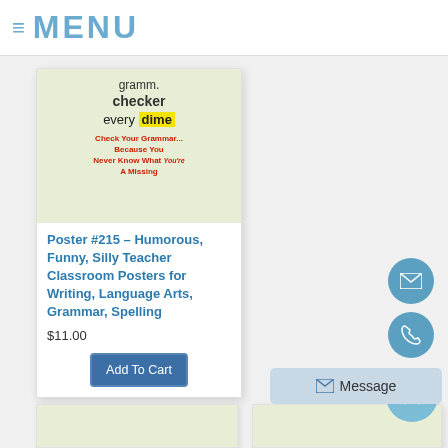≡ MENU
[Figure (illustration): Book/poster cover image showing text about grammar checker and 'every dime' highlighted in yellow, with red text 'Check Your Grammar... Because You Never Know What You're A Missing']
Poster #215 – Humorous, Funny, Silly Teacher Classroom Posters for Writing, Language Arts, Grammar, Spelling
$11.00
Add To Cart